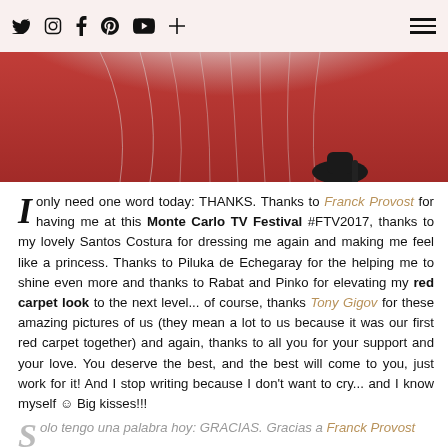Social media icons: Twitter, Instagram, Facebook, Pinterest, YouTube, Plus, Hamburger menu
[Figure (photo): Close-up photo of a white/light pink flowing dress hem on a red carpet with black shoes visible]
I only need one word today: THANKS. Thanks to Franck Provost for having me at this Monte Carlo TV Festival #FTV2017, thanks to my lovely Santos Costura for dressing me again and making me feel like a princess. Thanks to Piluka de Echegaray for the helping me to shine even more and thanks to Rabat and Pinko for elevating my red carpet look to the next level... of course, thanks Tony Gigov for these amazing pictures of us (they mean a lot to us because it was our first red carpet together) and again, thanks to all you for your support and your love. You deserve the best, and the best will come to you, just work for it! And I stop writing because I don't want to cry... and I know myself 😊 Big kisses!!!
Solo tengo una palabra hoy: GRACIAS. Gracias a Franck Provost